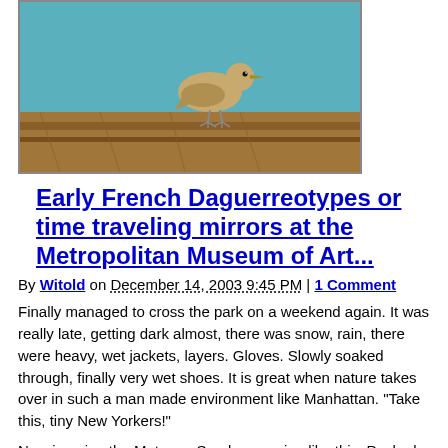[Figure (photo): A bird standing on what appears to be a wooden surface or railing, with teal/blue background]
Early French Daguerreotypes or time traveling mirrors at the Metropolitan Museum of Art...
By Witold on December 14, 2003 9:45 PM | 1 Comment
Finally managed to cross the park on a weekend again. It was really late, getting dark almost, there was snow, rain, there were heavy, wet jackets, layers. Gloves. Slowly soaked through, finally very wet shoes. It is great when nature takes over in such a man made environment like Manhattan. "Take this, tiny New Yorkers!"
Now imagine the Met on a Sunday evening like this. Packed, soaked masses pretending they to wait for a train, perhaps? Heavy, wet jackets, layers, inspected bags, lines, lines, people, people, screams, calls, amplified whispers... suggested price... real price... second floor... turn left, dodge tourists, sneak a peak at some excellent photography from the collection... turn left again... not